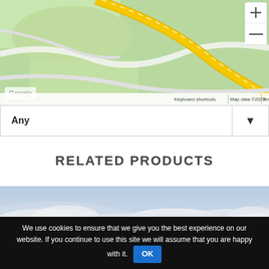[Figure (map): Google Maps satellite/terrain view showing roads and green areas with a yellow road crossing the map diagonally, with zoom controls on the right side.]
Any
RELATED PRODUCTS
[Figure (photo): Photograph of a cloudy sky with white and grey clouds.]
We use cookies to ensure that we give you the best experience on our website. If you continue to use this site we will assume that you are happy with it. OK